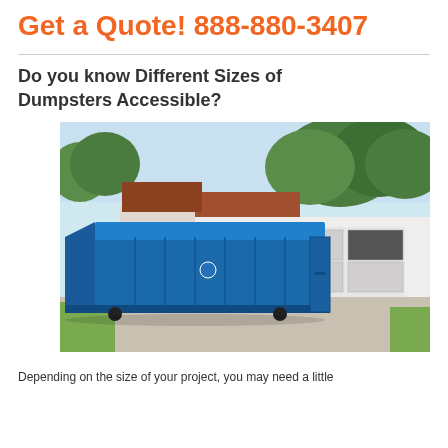Get a Quote! 888-880-3407
Do you know Different Sizes of Dumpsters Accessible?
[Figure (photo): A large blue roll-off dumpster parked in a residential driveway in front of a white garage, with trees visible in the background.]
Depending on the size of your project, you may need a little